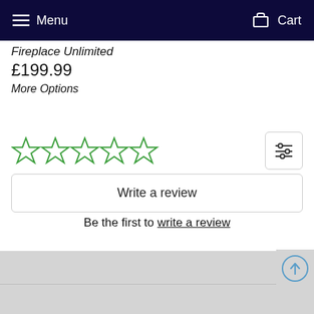Menu  Cart
Fireplace Unlimited
£199.99
More Options
[Figure (other): Five empty star rating icons in green outline, a filter/sort button on the right side]
Write a review
Be the first to write a review
[Figure (other): Scroll to top circular arrow button on gray footer background]